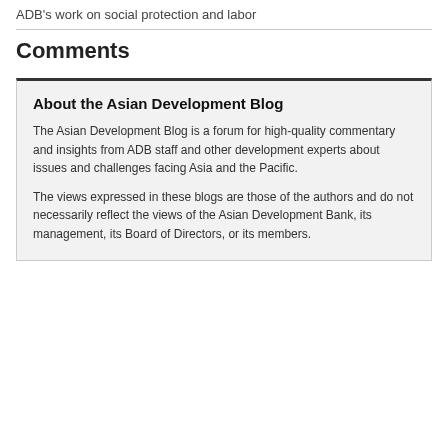ADB's work on social protection and labor
Comments
About the Asian Development Blog
The Asian Development Blog is a forum for high-quality commentary and insights from ADB staff and other development experts about issues and challenges facing Asia and the Pacific.
The views expressed in these blogs are those of the authors and do not necessarily reflect the views of the Asian Development Bank, its management, its Board of Directors, or its members.